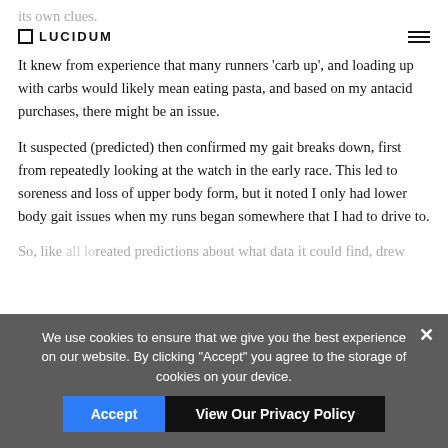its own clues.
LUCIDUM
It knew from experience that many runners 'carb up', and loading up with carbs would likely mean eating pasta, and based on my antacid purchases, there might be an issue.
It suspected (predicted) then confirmed my gait breaks down, first from repeatedly looking at the watch in the early race. This led to soreness and loss of upper body form, but it noted I only had lower body gait issues when my runs began somewhere that I had to drive to.
So, like all good data lovers, it created predictions about what data it could find, drew
We use cookies to ensure that we give you the best experience on our website. By clicking "Accept" you agree to the storage of cookies on your device.